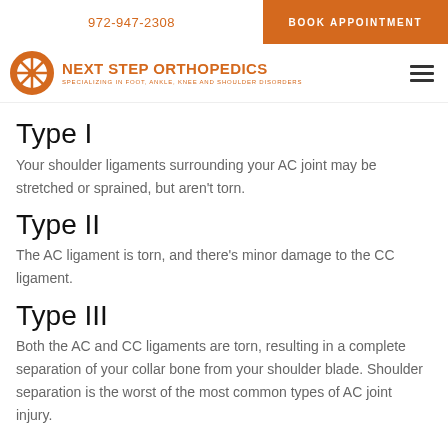972-947-2308   BOOK APPOINTMENT
[Figure (logo): Next Step Orthopedics logo with circular icon and text 'NEXT STEP ORTHOPEDICS — SPECIALIZING IN FOOT, ANKLE, KNEE AND SHOULDER DISORDERS']
Type I
Your shoulder ligaments surrounding your AC joint may be stretched or sprained, but aren't torn.
Type II
The AC ligament is torn, and there's minor damage to the CC ligament.
Type III
Both the AC and CC ligaments are torn, resulting in a complete separation of your collar bone from your shoulder blade. Shoulder separation is the worst of the most common types of AC joint injury.